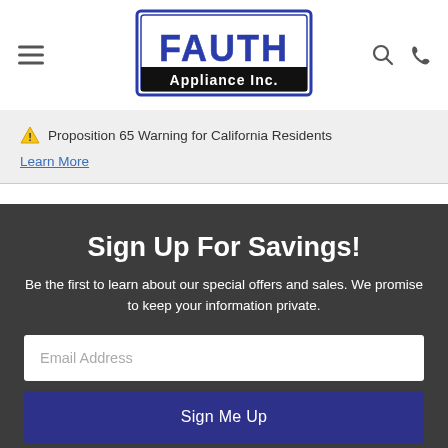Fauth Appliance Inc. — navigation header with hamburger menu, logo, search and phone icons
⚠ Proposition 65 Warning for California Residents
Learn More
Sign Up For Savings!
Be the first to learn about our special offers and sales. We promise to keep your information private.
Email Address
Sign Me Up